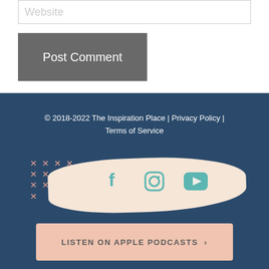Website
Post Comment
© 2018-2022 The Inspiration Place | Privacy Policy | Terms of Service
[Figure (illustration): Social media icons (Facebook, Instagram, YouTube) on a brush stroke background with decorative x marks]
LISTEN ON APPLE PODCASTS ›